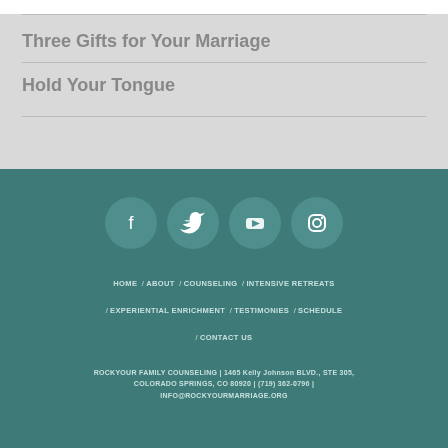Three Gifts for Your Marriage
Hold Your Tongue
[Figure (infographic): Footer section with social media icons (Facebook, Twitter, YouTube, Instagram) as circles, navigation links, and contact address for RockYour Family Counseling]
HOME / ABOUT / COUNSELING / INTENSIVE RETREATS / EXPERIENTIAL ENRICHMENT / TESTIMONIES / SCHEDULE / CONTACT US
ROCKYOUR FAMILY COUNSELING | 1465 Kelly Johnson BLVD., STE 305, COLORADO SPRINGS, CO 80920 | (719) 362-0796 | INFO@ROCKYOURMARRIAGE.ORG